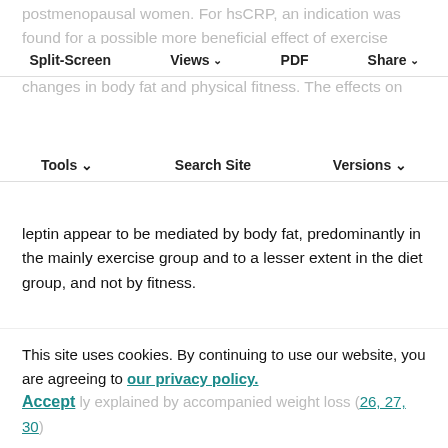postmenopausal women. For hsCRP, an indication was found for a possible more beneficial effect of exercise compared to diet, which seemed to be mediated by changes in body fat and physical fitness. The effects on
Split-Screen | Views | PDF | Share
Tools | Search Site | Versions
leptin appear to be mediated by body fat, predominantly in the mainly exercise group and to a lesser extent in the diet group, and not by fitness.
Our results on hsCRP are in line with several previous diet or exercise weight loss studies in healthy postmenopausal women (14, 27, 30–34). Results of exercise-only interventions in a comparable population are mixed. Some trials observed beneficial effects on CRP and IL6 by
exercise (35, 36). However, other trials reported no effect (37, 38). This seems to
This site uses cookies. By continuing to use our website, you are agreeing to our privacy policy. Accept
ly explained by accompanied weight loss (26, 27, 30).